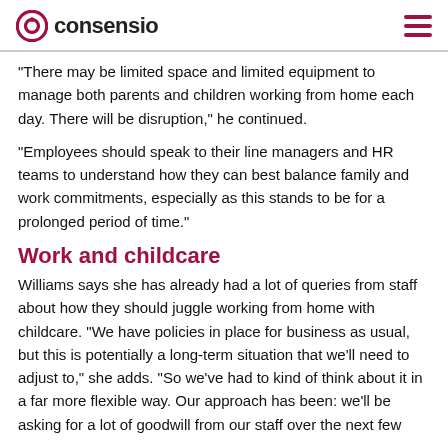consensio
“There may be limited space and limited equipment to manage both parents and children working from home each day. There will be disruption,” he continued.
“Employees should speak to their line managers and HR teams to understand how they can best balance family and work commitments, especially as this stands to be for a prolonged period of time.”
Work and childcare
Williams says she has already had a lot of queries from staff about how they should juggle working from home with childcare. “We have policies in place for business as usual, but this is potentially a long-term situation that we’ll need to adjust to,” she adds. “So we’ve had to kind of think about it in a far more flexible way. Our approach has been: we’ll be asking for a lot of goodwill from our staff over the next few